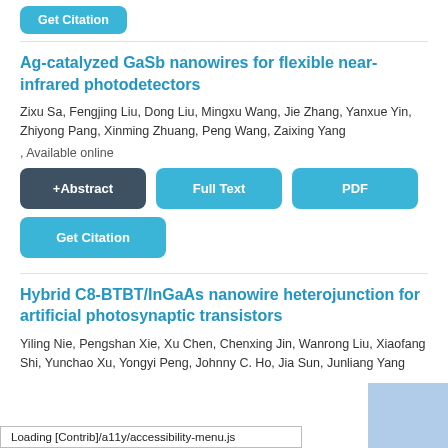[Figure (other): Partial 'Get Citation' button visible at top of page]
Ag-catalyzed GaSb nanowires for flexible near-infrared photodetectors
Zixu Sa, Fengjing Liu, Dong Liu, Mingxu Wang, Jie Zhang, Yanxue Yin, Zhiyong Pang, Xinming Zhuang, Peng Wang, Zaixing Yang
, Available online
[Figure (other): +Abstract, Full Text, PDF buttons row]
[Figure (other): Get Citation button]
Hybrid C8-BTBT/InGaAs nanowire heterojunction for artificial photosynaptic transistors
Yiling Nie, Pengshan Xie, Xu Chen, Chenxing Jin, Wanrong Liu, Xiaofang Shi, Yunchao Xu, Yongyi Peng, Johnny C. Ho, Jia Sun, Junliang Yang
Loading [Contrib]/a11y/accessibility-menu.js